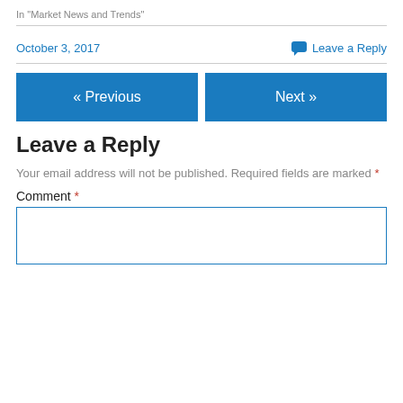In "Market News and Trends"
October 3, 2017   Leave a Reply
[Figure (other): Navigation buttons: « Previous and Next »]
Leave a Reply
Your email address will not be published. Required fields are marked *
Comment *
[Figure (other): Empty comment text area input box]